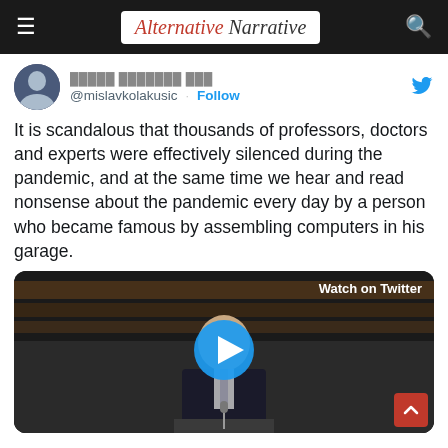Alternative Narrative
@mislavkolakusic · Follow
It is scandalous that thousands of professors, doctors and experts were effectively silenced during the pandemic, and at the same time we hear and read nonsense about the pandemic every day by a person who became famous by assembling computers in his garage.
[Figure (screenshot): Video thumbnail showing a bald man in a dark suit speaking at a podium in what appears to be the European Parliament. A blue circular play button is overlaid in the center. Top right shows 'Watch on Twitter' text.]